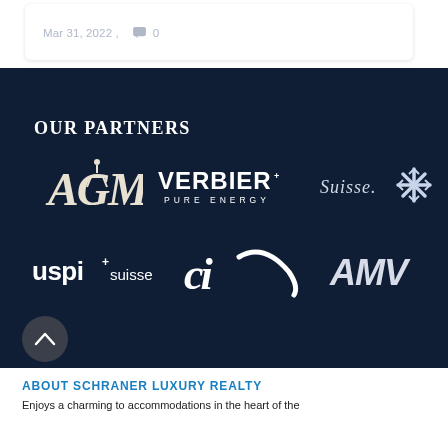Mar 31, 2022 , 0
OUR PARTNERS
[Figure (logo): AGM logo - stylized white letters AGM]
[Figure (logo): VERBIER PURE ENERGY logo - white text on dark background]
[Figure (logo): Suisse star/snowflake logo]
[Figure (logo): uspi+ suisse logo - white text]
[Figure (logo): CI stylized cursive logo in white]
[Figure (logo): AMV logo in white italic text]
ABOUT SCHRANER LUXURY REALTY
Enjoys a charming to accommodations in the heart of the...